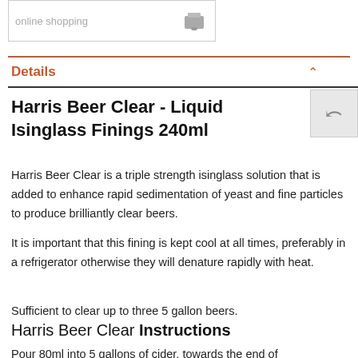[Figure (other): Partial product listing box with text 'online shopping' and a can icon]
Details
Harris Beer Clear - Liquid Isinglass Finings 240ml
Harris Beer Clear is a triple strength isinglass solution that is added to enhance rapid sedimentation of yeast and fine particles to produce brilliantly clear beers.
It is important that this fining is kept cool at all times, preferably in a refrigerator otherwise they will denature rapidly with heat.
Sufficient to clear up to three 5 gallon beers.
Harris Beer Clear Instructions
Pour 80ml into 5 gallons of cider, towards the end of